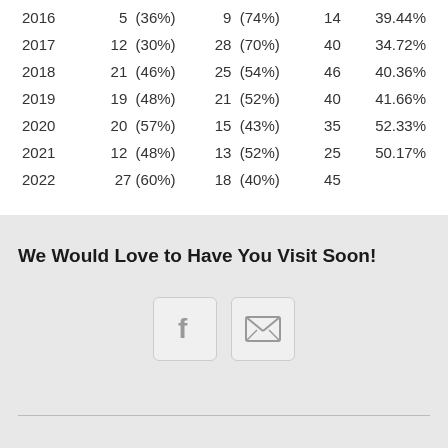| 2016 | 5  (36%) | 9  (74%) | 14 | 39.44% |
| 2017 | 12  (30%) | 28  (70%) | 40 | 34.72% |
| 2018 | 21  (46%) | 25  (54%) | 46 | 40.36% |
| 2019 | 19  (48%) | 21  (52%) | 40 | 41.66% |
| 2020 | 20  (57%) | 15  (43%) | 35 | 52.33% |
| 2021 | 12  (48%) | 13  (52%) | 25 | 50.17% |
| 2022 | 27 (60%) | 18  (40%) | 45 |  |
We Would Love to Have You Visit Soon!
[Figure (illustration): Facebook icon button (rounded square with 'f' letter) and email/envelope icon button side by side]